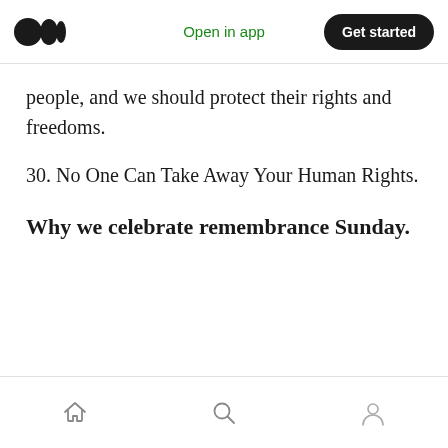Open in app  Get started
people, and we should protect their rights and freedoms.
30. No One Can Take Away Your Human Rights.
Why we celebrate remembrance Sunday.
Home  Search  Profile